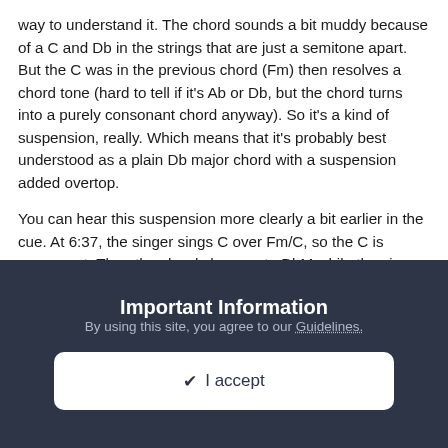way to understand it. The chord sounds a bit muddy because of a C and Db in the strings that are just a semitone apart. But the C was in the previous chord (Fm) then resolves a chord tone (hard to tell if it's Ab or Db, but the chord turns into a purely consonant chord anyway). So it's a kind of suspension, really. Which means that it's probably best understood as a plain Db major chord with a suspension added overtop.
You can hear this suspension more clearly a bit earlier in the cue. At 6:37, the singer sings C over Fm/C, so the C is consonant. Then the chord changes to DbM while the singer hangs onto the C, creating a beautiful suspension that resolves down to Ab (resolves by skip down instead of the more typical step down). So I think the later chord you point to is a rearrangement of this same one, it's just that the C sounds more biting because it's in the same instrument and right beside the Db.
Important Information
By using this site, you agree to our Guidelines.
✔ I accept